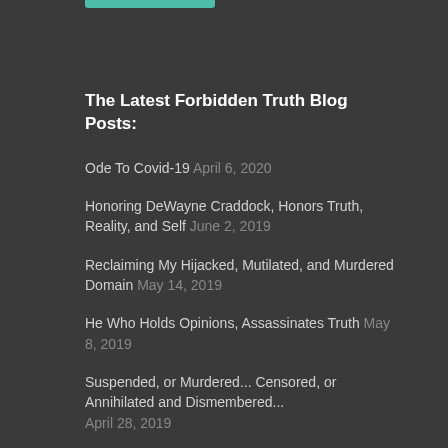[Figure (other): Teal/green decorative bar at the top]
The Latest Forbidden Truth Blog Posts:
Ode To Covid-19 April 6, 2020
Honoring DeWayne Craddock, Honors Truth, Reality, and Self June 2, 2019
Reclaiming My Hijacked, Mutilated, and Murdered Domain May 14, 2019
He Who Holds Opinions, Assassinates Truth May 8, 2019
Suspended, or Murdered... Censored, or Annihilated and Dismembered... April 28, 2019